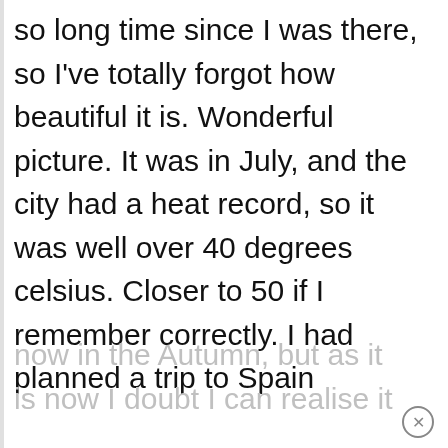so long time since I was there, so I've totally forgot how beautiful it is. Wonderful picture. It was in July, and the city had a heat record, so it was well over 40 degrees celsius. Closer to 50 if I remember correctly. I had planned a trip to Spain now in the Autumn, but as it is now I doubt I can realise it